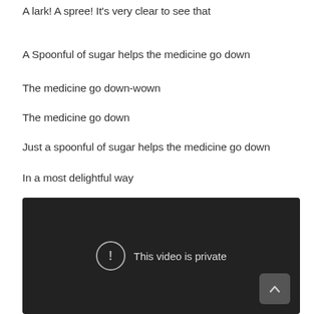A lark! A spree! It's very clear to see that
A Spoonful of sugar helps the medicine go down
The medicine go down-wown
The medicine go down
Just a spoonful of sugar helps the medicine go down
In a most delightful way
[Figure (screenshot): Embedded video player showing error message 'This video is private' with an exclamation mark icon and a collapsed/up-arrow button in the bottom right corner.]